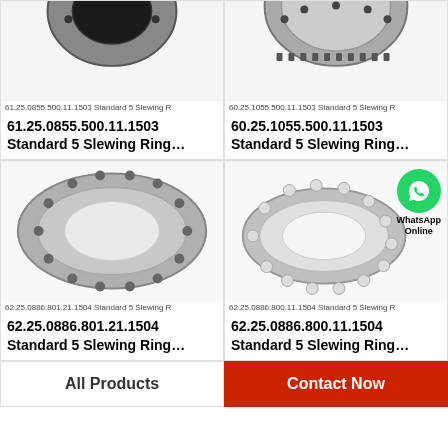[Figure (photo): Slewing ring bearing product photo - top left, partially cropped]
61.25.0855.500.11.1503 Standard 5 Slewing R
61.25.0855.500.11.1503 Standard 5 Slewing Ring…
[Figure (photo): Slewing ring bearing product photo - top right, partially cropped]
60.25.1055.500.11.1503 Standard 5 Slewing R
60.25.1055.500.11.1503 Standard 5 Slewing Ring…
[Figure (photo): Large slewing ring bearing product photo - bottom left]
62.25.0886.801.21.1504 Standard 5 Slewing R
62.25.0886.801.21.1504 Standard 5 Slewing Ring…
[Figure (photo): Slewing ring bearing product photo with WhatsApp Online overlay - bottom right]
62.25.0886.800.11.1504 Standard 5 Slewing R
62.25.0886.800.11.1504 Standard 5 Slewing Ring…
All Products
Contact Now